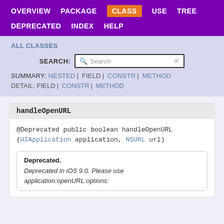OVERVIEW | PACKAGE | CLASS | USE | TREE | DEPRECATED | INDEX | HELP
ALL CLASSES
SEARCH:
SUMMARY: NESTED | FIELD | CONSTR | METHOD
DETAIL: FIELD | CONSTR | METHOD
handleOpenURL
@Deprecated public boolean handleOpenURL
(UIApplication application, NSURL url)
Deprecated.
Deprecated in iOS 9.0. Please use application:openURL:options: